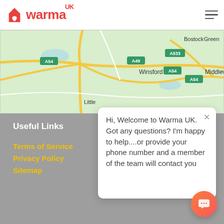warma UK
[Figure (map): Google Maps view showing roads A54, A49, A533 near Winsford, Middlewich, Bostock, Green, and Little areas in Cheshire, UK]
Useful Links
Terms of Service
Privacy Policy
Sitemap
Hi, Welcome to Warma UK. Got any questions? I'm happy to help....or provide your phone number and a member of the team will contact you